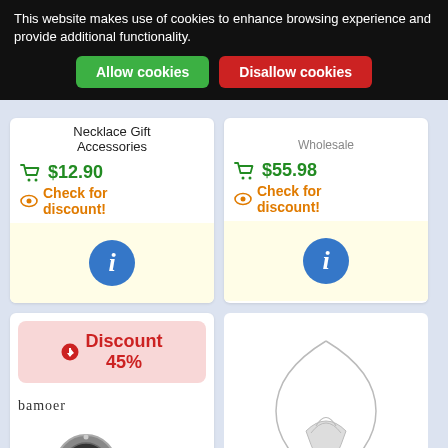This website makes use of cookies to enhance browsing experience and provide additional functionality.
Allow cookies
Disallow cookies
Necklace Gift Accessories
$12.90
Check for discount!
$55.98
Check for discount!
Discount 45%
bamoer
Top